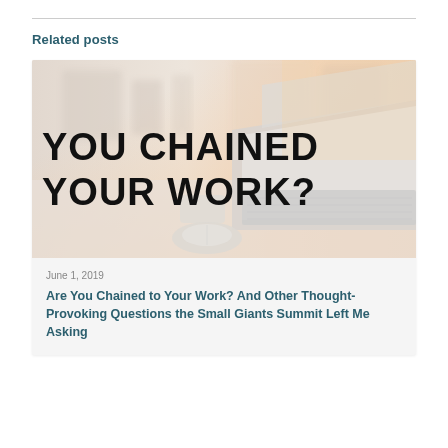Related posts
[Figure (photo): Blurred office desk background with a laptop and mouse. Bold black handwritten-style text overlay reads: YOU CHAINED YOUR WORK?]
June 1, 2019
Are You Chained to Your Work? And Other Thought-Provoking Questions the Small Giants Summit Left Me Asking